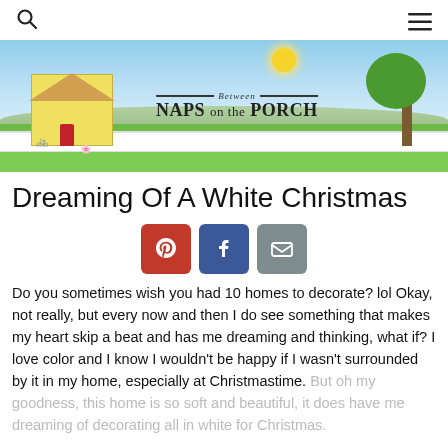[Figure (illustration): Between Naps on the Porch blog banner illustration showing a yellow house with fence, green lawn, blue sky, tree, and decorative text.]
Dreaming Of A White Christmas
[Figure (other): Social sharing buttons: Pinterest (red), Facebook (blue), Email (grey)]
Do you sometimes wish you had 10 homes to decorate? lol Okay, not really, but every now and then I do see something that makes my heart skip a beat and has me dreaming and thinking, what if? I love color and I know I wouldn't be happy if I wasn't surrounded by it in my home, especially at Christmastime. But oh my goodness, this home is so soft and beautiful, it does have me dreaming of decorating all in white for Christmas.